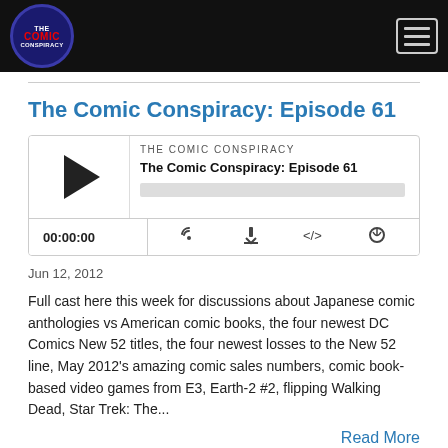The Comic Conspiracy
The Comic Conspiracy: Episode 61
[Figure (other): Podcast audio player widget with play button, episode title 'The Comic Conspiracy: Episode 61', progress bar, time display 00:00:00, and icons for RSS, download, embed, and share.]
Jun 12, 2012
Full cast here this week for discussions about Japanese comic anthologies vs American comic books, the four newest DC Comics New 52 titles, the four newest losses to the New 52 line, May 2012's amazing comic sales numbers, comic book-based video games from E3, Earth-2 #2, flipping Walking Dead, Star Trek: The...
Read More